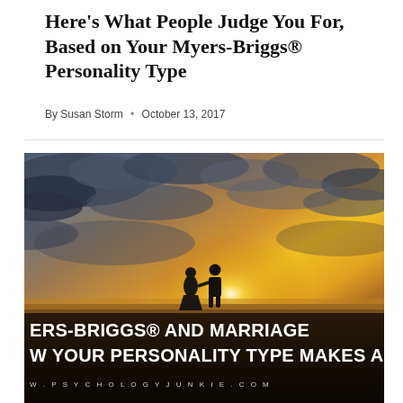Here's What People Judge You For, Based on Your Myers-Briggs® Personality Type
By Susan Storm • October 13, 2017
[Figure (photo): A couple silhouetted against a dramatic golden sunset sky with clouds. An overlay at the bottom reads 'ERS-BRIGGS® AND MARRIAGE' and 'W YOUR PERSONALITY TYPE MAKES A DIFFEREN' with the URL 'W.PSYCHOLOGYJUNKIE.COM' below.]